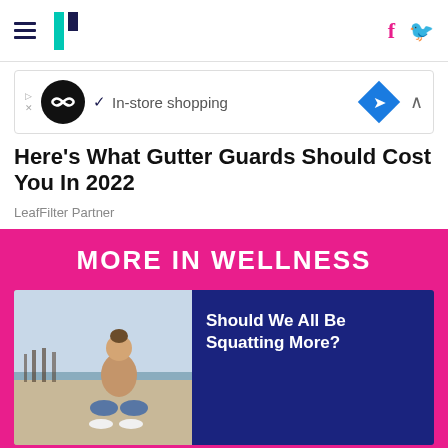HuffPost navigation with hamburger menu, logo, Facebook and Twitter icons
[Figure (screenshot): Advertisement banner with circular logo, In-store shopping text, blue diamond navigation icon, and chevron]
Here's What Gutter Guards Should Cost You In 2022
LeafFilter Partner
MORE IN WELLNESS
[Figure (photo): Woman squatting on a beach]
Should We All Be Squatting More?